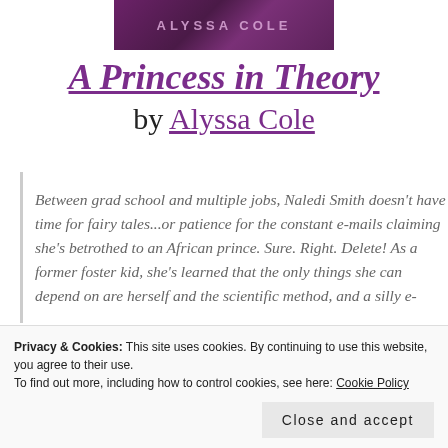[Figure (photo): Book cover image showing the author name ALYSSA COLE in decorative letters on a purple/dark background]
A Princess in Theory by Alyssa Cole
Between grad school and multiple jobs, Naledi Smith doesn't have time for fairy tales...or patience for the constant e-mails claiming she's betrothed to an African prince. Sure. Right. Delete! As a former foster kid, she's learned that the only things she can depend on are herself and the scientific method, and a silly e-
Privacy & Cookies: This site uses cookies. By continuing to use this website, you agree to their use.
To find out more, including how to control cookies, see here: Cookie Policy
Close and accept
Thesolo, shouldering the hopes of his parents and his